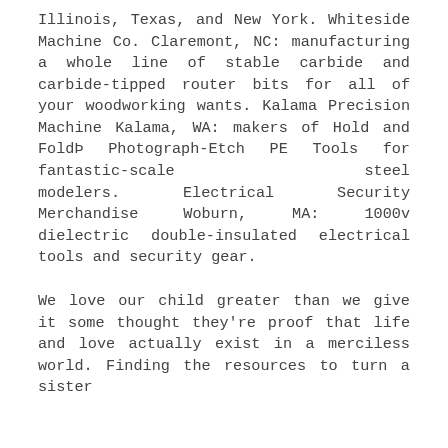Illinois, Texas, and New York. Whiteside Machine Co. Claremont, NC: manufacturing a whole line of stable carbide and carbide-tipped router bits for all of your woodworking wants. Kalama Precision Machine Kalama, WA: makers of Hold and FoldÞ Photograph-Etch PE Tools for fantastic-scale steel modelers. Electrical Security Merchandise Woburn, MA: 1000v dielectric double-insulated electrical tools and security gear.
We love our child greater than we give it some thought they're proof that life and love actually exist in a merciless world. Finding the resources to turn a sister...